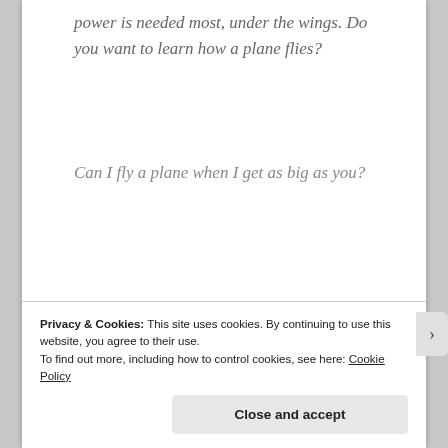power is needed most, under the wings. Do you want to learn how a plane flies?
Can I fly a plane when I get as big as you?
You can do anything you set your mind to darling.
Privacy & Cookies: This site uses cookies. By continuing to use this website, you agree to their use.
To find out more, including how to control cookies, see here: Cookie Policy